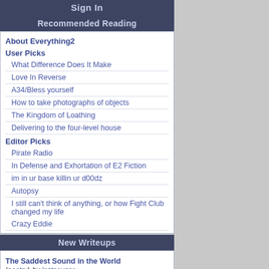Sign In
Recommended Reading
About Everything2
User Picks
What Difference Does It Make
Love In Reverse
A34/Bless yourself
How to take photographs of objects
The Kingdom of Loathing
Delivering to the four-level house
Editor Picks
Pirate Radio
In Defense and Exhortation of E2 Fiction
im in ur base killin ur d00dz
Autopsy
I still can't think of anything, or how Fight Club changed my life
Crazy Eddie
New Writeups
The Saddest Sound in the World (poetry) by lostcauser
How to take photographs of objects (how-to) by etouffee
The Kingdom of Loathing